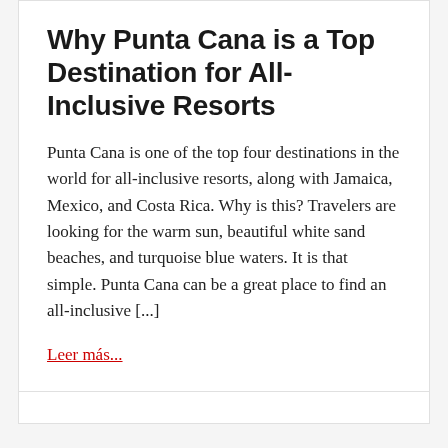Why Punta Cana is a Top Destination for All-Inclusive Resorts
Punta Cana is one of the top four destinations in the world for all-inclusive resorts, along with Jamaica, Mexico, and Costa Rica. Why is this? Travelers are looking for the warm sun, beautiful white sand beaches, and turquoise blue waters. It is that simple. Punta Cana can be a great place to find an all-inclusive [...]
Leer más...